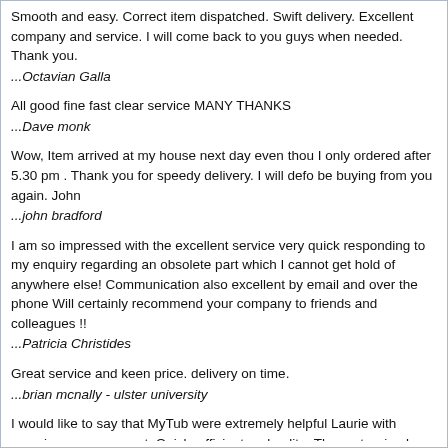Smooth and easy. Correct item dispatched. Swift delivery. Excellent company and service. I will come back to you guys when needed. Thank you.
...Octavian Galla
All good fine fast clear service MANY THANKS
...Dave monk
Wow, Item arrived at my house next day even thou I only ordered after 5.30 pm . Thank you for speedy delivery. I will defo be buying from you again. John
...john bradford
I am so impressed with the excellent service very quick responding to my enquiry regarding an obsolete part which I cannot get hold of anywhere else! Communication also excellent by email and over the phone Will certainly recommend your company to friends and colleagues !!
...Patricia Christides
Great service and keen price. delivery on time.
...brian mcnally - ulster university
I would like to say that MyTub were extremely helpful Laurie with sourcing my spare part. Quick, efficient and polite. The part arrived very quickly. Thank you Neil
...Neil Stephens
Swift delivery - as usual - and helpful van driver. All received in good condition and as ordered.
...Ms S E Ellis
Very rapid action in providing the correct item at a convenient collection point. A good price too compared to elsewhere. Good communications all round.